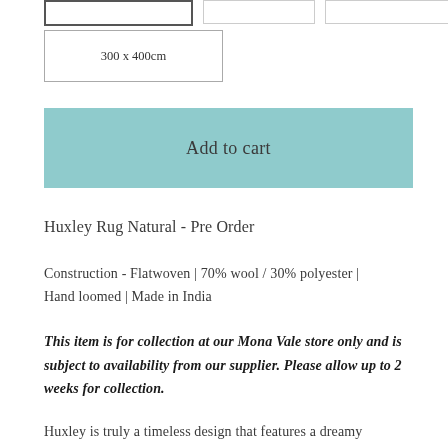300 x 400cm
Add to cart
Huxley Rug Natural - Pre Order
Construction - Flatwoven | 70% wool / 30% polyester | Hand loomed | Made in India
This item is for collection at our Mona Vale store only and is subject to availability from our supplier. Please allow up to 2 weeks for collection.
Huxley is truly a timeless design that features a dreamy